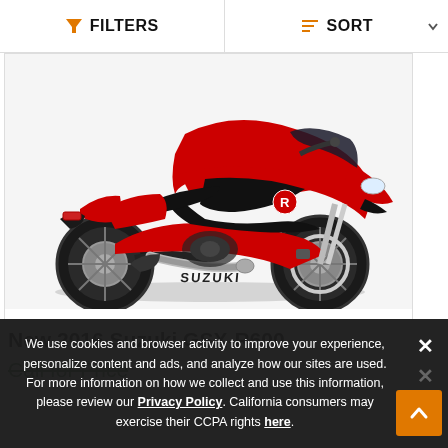FILTERS   SORT
[Figure (photo): Red and black 2016 Suzuki GSX-R600 sport motorcycle shown in profile view against white background]
New 2016 Suzuki GSX-R600
Call for Price
We use cookies and browser activity to improve your experience, personalize content and ads, and analyze how our sites are used. For more information on how we collect and use this information, please review our Privacy Policy. California consumers may exercise their CCPA rights here.